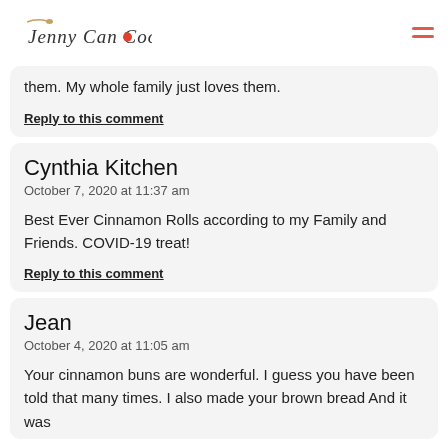Jenny Can Cook
them. My whole family just loves them.
Reply to this comment
Cynthia Kitchen
October 7, 2020 at 11:37 am
Best Ever Cinnamon Rolls according to my Family and Friends. COVID-19 treat!
Reply to this comment
Jean
October 4, 2020 at 11:05 am
Your cinnamon buns are wonderful. I guess you have been told that many times. I also made your brown bread And it was